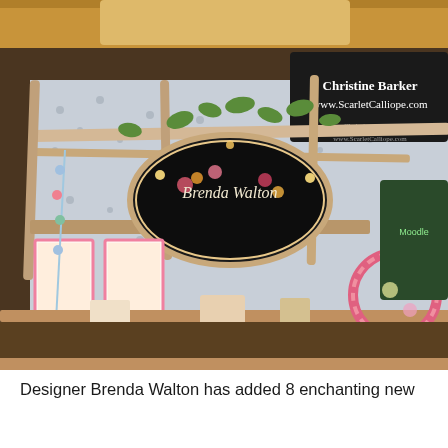[Figure (photo): A craft/trade show booth for Brenda Walton featuring decorative items including framed artwork, jewelry, floral decorations, and a rustic wooden pergola structure. A black oval sign reads 'Brenda Walton'. In the background, a sign reads 'Christine Barker www.ScarletCalliope.com'.]
Designer Brenda Walton has added 8 enchanting new